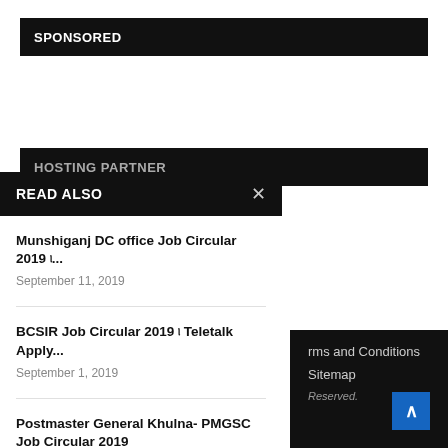SPONSORED
HOSTING PARTNER
READ ALSO
Munshiganj DC office Job Circular 2019 ৷...
September 11, 2019
BCSIR Job Circular 2019 ৷ Teletalk Apply...
September 1, 2019
Postmaster General Khulna- PMGSC Job Circular 2019
September 1, 2019
rms and Conditions
Sitemap
Reserved.